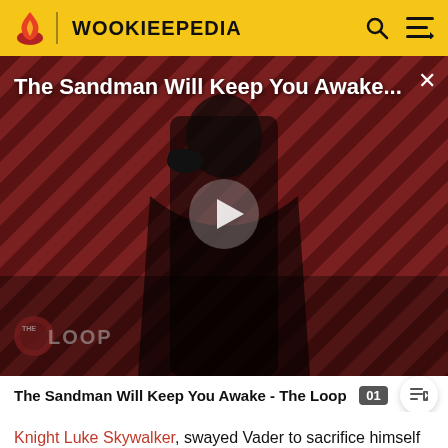WOOKIEEPEDIA
[Figure (screenshot): Video thumbnail for 'The Sandman Will Keep You Awake...' featuring a figure in black with a crow, set against a diagonal striped red/dark background. 'THE LOOP' watermark overlay visible. Play button in center.]
The Sandman Will Keep You Awake - The Loop
Knight Luke Skywalker, swayed Vader to sacrifice himself to destroy Darth Sidious.[17] With the Sith extinct, Anakin Skywalker thus fulfilled the prophecy of the Chosen One